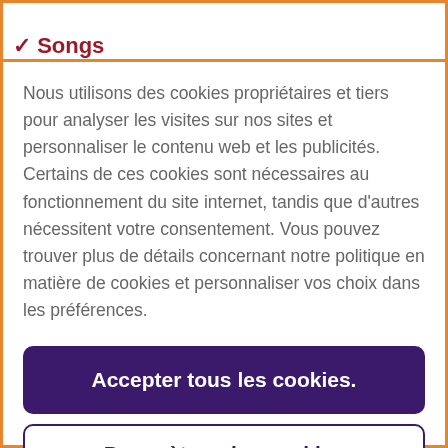Songs
Nous utilisons des cookies propriétaires et tiers pour analyser les visites sur nos sites et personnaliser le contenu web et les publicités. Certains de ces cookies sont nécessaires au fonctionnement du site internet, tandis que d'autres nécessitent votre consentement. Vous pouvez trouver plus de détails concernant notre politique en matière de cookies et personnaliser vos choix dans les préférences.
Accepter tous les cookies.
Paramètres des cookies